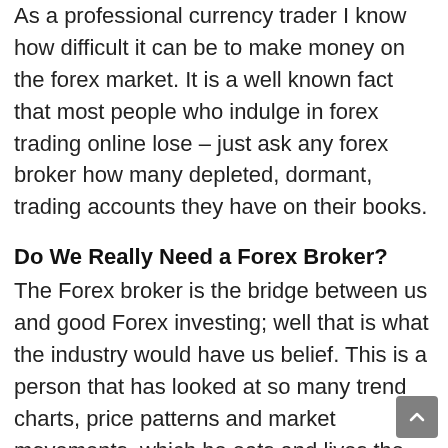As a professional currency trader I know how difficult it can be to make money on the forex market. It is a well known fact that most people who indulge in forex trading online lose – just ask any forex broker how many depleted, dormant, trading accounts they have on their books.
Do We Really Need a Forex Broker?
The Forex broker is the bridge between us and good Forex investing; well that is what the industry would have us belief. This is a person that has looked at so many trend charts, price patterns and market movements, which he eats and lives the Forex market, and we are here to leverage of his expertise. But what are the dimensions of a Forex broker and should we even be considering one. How would we survive if we were to manage the market in our own little way, with just dependencies on things like dummy accounts and trading platforms that have come through the Forex...